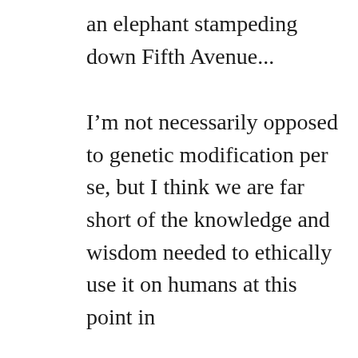an elephant stampeding down Fifth Avenue...
I’m not necessarily opposed to genetic modification per se, but I think we are far short of the knowledge and wisdom needed to ethically use it on humans at this point in